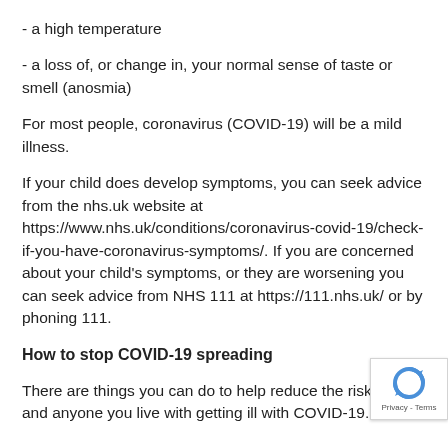- a high temperature
- a loss of, or change in, your normal sense of taste or smell (anosmia)
For most people, coronavirus (COVID-19) will be a mild illness.
If your child does develop symptoms, you can seek advice from the nhs.uk website at https://www.nhs.uk/conditions/coronavirus-covid-19/check-if-you-have-coronavirus-symptoms/. If you are concerned about your child's symptoms, or they are worsening you can seek advice from NHS 111 at https://111.nhs.uk/ or by phoning 111.
How to stop COVID-19 spreading
There are things you can do to help reduce the risk of you and anyone you live with getting ill with COVID-19.  Do